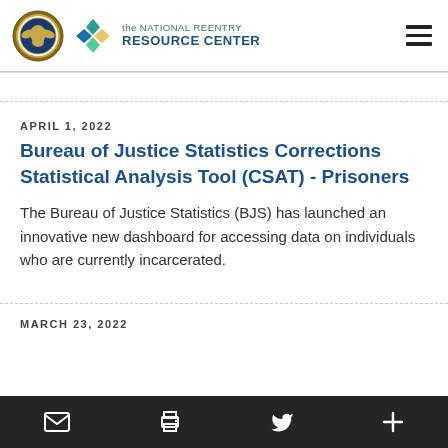the NATIONAL REENTRY RESOURCE CENTER
APRIL 1, 2022
Bureau of Justice Statistics Corrections Statistical Analysis Tool (CSAT) - Prisoners
The Bureau of Justice Statistics (BJS) has launched an innovative new dashboard for accessing data on individuals who are currently incarcerated.
MARCH 23, 2022
Email | Print | Twitter | More